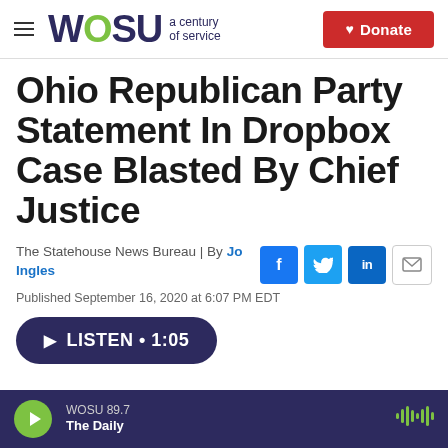WOSU a century of service | Donate
Ohio Republican Party Statement In Dropbox Case Blasted By Chief Justice
The Statehouse News Bureau | By Jo Ingles
Published September 16, 2020 at 6:07 PM EDT
LISTEN • 1:05
WOSU 89.7 The Daily